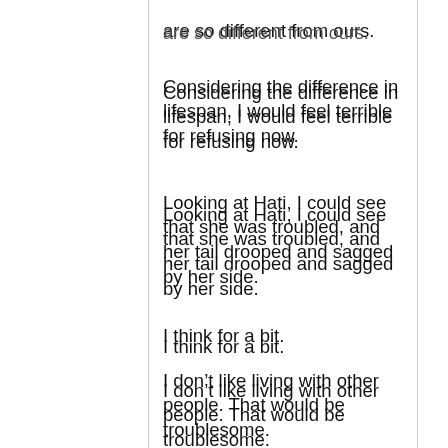are so different from ours.
Considering the difference in lifespan, I would feel terrible for refusing now.
Looking at Hati, I could see that she was troubled, and her tail drooped and sagged by her side.
I think for a bit.
I don't like living with other people. That would be troublesome.
But just as it is comforting to live with a cat or a dog, living with a small Dragon must be comforting too.
Werner: “I understand.  Hati, do as